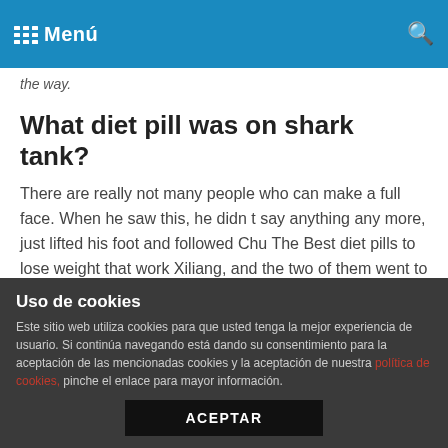Menú
the way.
What diet pill was on shark tank?
There are really not many people who can make a full face. When he saw this, he didn t say anything any more, just lifted his foot and followed Chu The Best diet pills to lose weight that work Xiliang, and the two of them went to the direction of the palace feast together.
The imperial doctor said that if you can make some chrysanthemum tea, it is an insta slim commercial girl excellent choice.
Bu Feiyan was a little at a loss by medically proven 3x fat loss
Uso de cookies
Este sitio web utiliza cookies para que usted tenga la mejor experiencia de usuario. Si continúa navegando está dando su consentimiento para la aceptación de las mencionadas cookies y la aceptación de nuestra política de cookies, pinche el enlace para mayor información.
ACEPTAR